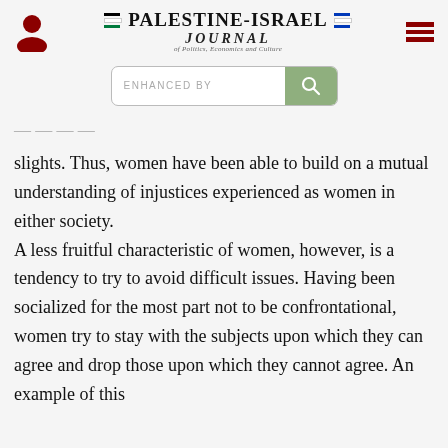Palestine-Israel Journal of Politics, Economics and Culture
slights. Thus, women have been able to build on a mutual understanding of injustices experienced as women in either society.
A less fruitful characteristic of women, however, is a tendency to try to avoid difficult issues. Having been socialized for the most part not to be confrontational, women try to stay with the subjects upon which they can agree and drop those upon which they cannot agree. An example of this